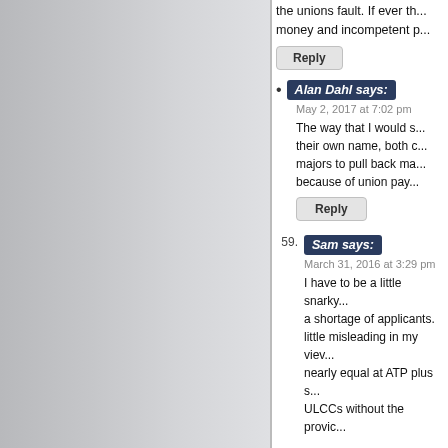the unions fault. If ever th... money and incompetent p...
Reply
Alan Dahl says:
May 2, 2017 at 7:02 pm
The way that I would s... their own name, both c... majors to pull back ma... because of union pay...
Reply
59. Sam says:
March 31, 2016 at 3:29 pm
I have to be a little snarky... a shortage of applicants. little misleading in my viev... nearly equal at ATP plus s... ULCCs without the provic...